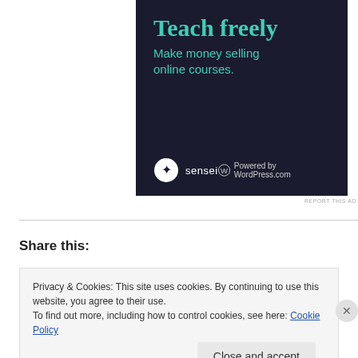[Figure (advertisement): Dark navy advertisement banner for Sensei/WordPress.com showing 'Teach freely' and 'Make money selling online courses.' with Sensei and WordPress.com logos at the bottom.]
REPORT THIS AD
Share this:
Privacy & Cookies: This site uses cookies. By continuing to use this website, you agree to their use.
To find out more, including how to control cookies, see here: Cookie Policy
Close and accept